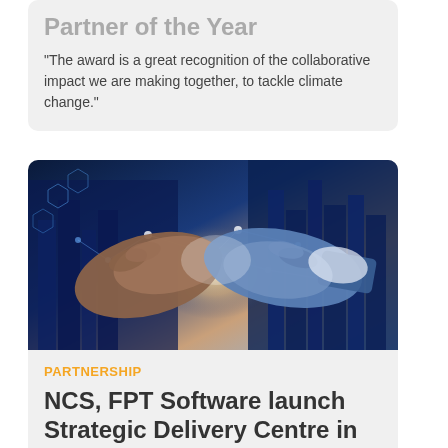Partner of the Year
"The award is a great recognition of the collaborative impact we are making together, to tackle climate change."
[Figure (photo): Two people shaking hands with a digital network overlay and city background in blue tones]
PARTNERSHIP
NCS, FPT Software launch Strategic Delivery Centre in Vietnam